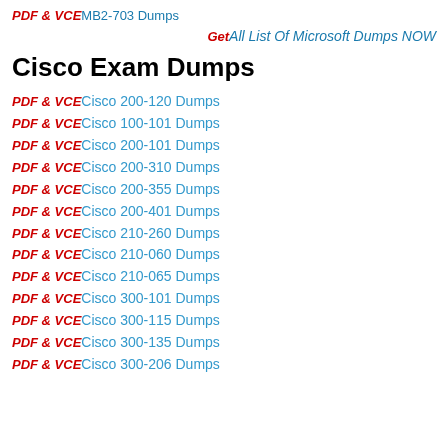PDF & VCE MB2-703 Dumps
Get All List Of Microsoft Dumps NOW
Cisco Exam Dumps
PDF & VCE Cisco 200-120 Dumps
PDF & VCE Cisco 100-101 Dumps
PDF & VCE Cisco 200-101 Dumps
PDF & VCE Cisco 200-310 Dumps
PDF & VCE Cisco 200-355 Dumps
PDF & VCE Cisco 200-401 Dumps
PDF & VCE Cisco 210-260 Dumps
PDF & VCE Cisco 210-060 Dumps
PDF & VCE Cisco 210-065 Dumps
PDF & VCE Cisco 300-101 Dumps
PDF & VCE Cisco 300-115 Dumps
PDF & VCE Cisco 300-135 Dumps
PDF & VCE Cisco 300-206 Dumps